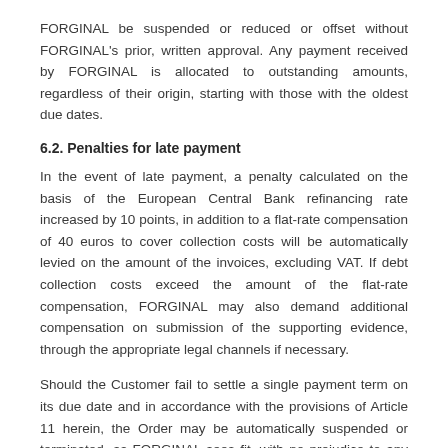FORGINAL be suspended or reduced or offset without FORGINAL's prior, written approval. Any payment received by FORGINAL is allocated to outstanding amounts, regardless of their origin, starting with those with the oldest due dates.
6.2. Penalties for late payment
In the event of late payment, a penalty calculated on the basis of the European Central Bank refinancing rate increased by 10 points, in addition to a flat-rate compensation of 40 euros to cover collection costs will be automatically levied on the amount of the invoices, excluding VAT. If debt collection costs exceed the amount of the flat-rate compensation, FORGINAL may also demand additional compensation on submission of the supporting evidence, through the appropriate legal channels if necessary.
Should the Customer fail to settle a single payment term on its due date and in accordance with the provisions of Article 11 herein, the Order may be automatically suspended or terminated, as FORGINAL sees fit, with no prejudice to any expenses or damages.